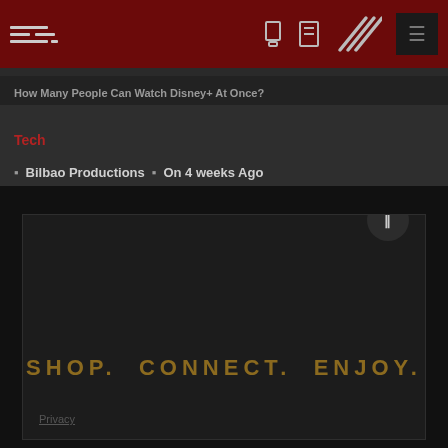Bilbao Productions — Tech blog header
How Many People Can Watch Disney+ At Once?
Tech
Bilbao Productions  On 4 weeks Ago
How to use Apple's Live Captions for iPhone, iPad, and Mac devices – Mashable
[Figure (other): Advertisement banner with text: SHOP. CONNECT. ENJOY. with a pause button and Privacy link]
Privacy